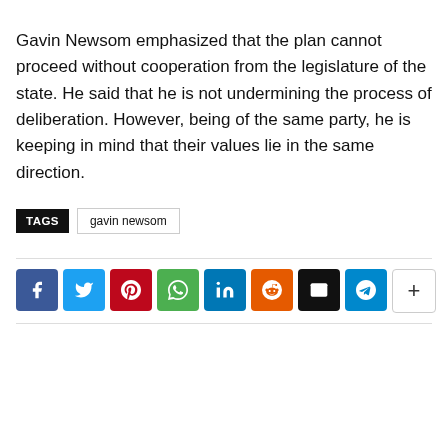Gavin Newsom emphasized that the plan cannot proceed without cooperation from the legislature of the state. He said that he is not undermining the process of deliberation. However, being of the same party, he is keeping in mind that their values lie in the same direction.
TAGS  gavin newsom
[Figure (infographic): Social media share buttons: Facebook, Twitter, Pinterest, WhatsApp, LinkedIn, Reddit, Email, Telegram, More (+)]